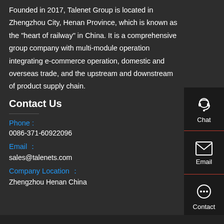Founded in 2017, Talenet Group is located in Zhengzhou City, Henan Province, which is known as the "heart of railway" in China. It is a comprehensive group company with multi-module operation integrating e-commerce operation, domestic and overseas trade, and the upstream and downstream of product supply chain.
Contact Us
Phone :
0086-371-60922096
Email :
sales@talenets.com
Company Location :
Zhengzhou Henan China
[Figure (infographic): Right sidebar with four contact/navigation icons: Chat (headset icon), Email (envelope icon), Contact (speech bubble icon), Top (upward arrow icon). Each item separated by a red horizontal line.]